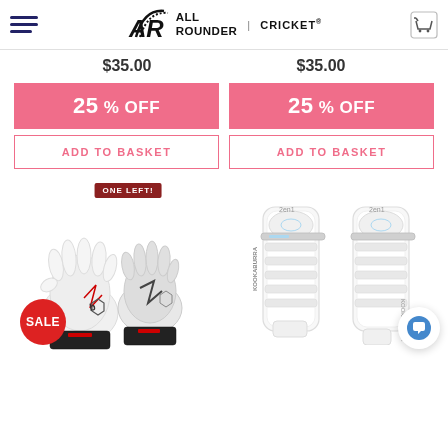All Rounder | Cricket
$35.00   $35.00
25 % OFF   25 % OFF
ADD TO BASKET   ADD TO BASKET
ONE LEFT!
[Figure (photo): Cricket batting gloves (pair) on left with a red SALE badge circle, and cricket leg pads (pair) on right. One Left! badge above left product.]
SALE